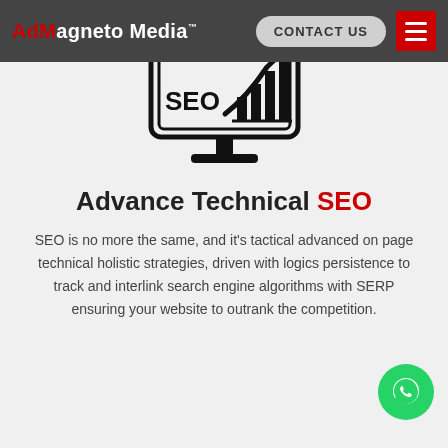AdMagneto Media™ — CONTACT US
[Figure (illustration): Line-art icon of a desktop monitor displaying an SEO bar chart with an upward arrow, labeled 'SEO']
Advance Technical SEO
SEO is no more the same, and it's tactical advanced on page technical holistic strategies, driven with logics persistence to track and interlink search engine algorithms with SERP ensuring your website to outrank the competition.
[Figure (illustration): Green WhatsApp chat bubble icon (floating action button)]